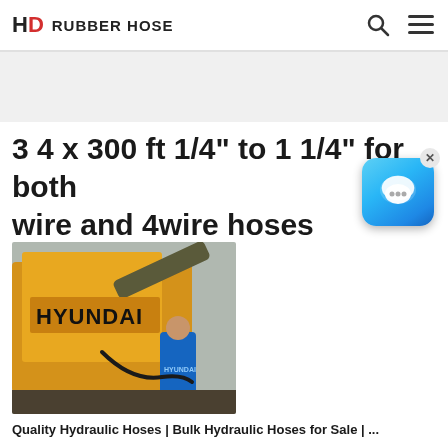HD RUBBER HOSE
3 4 x 300 ft 1/4" to 1 1/4" for both wire and 4wire hoses
[Figure (photo): A Hyundai excavator with hydraulic hoses, and a worker in blue Hyundai uniform standing beside it]
Quality Hydraulic Hoses | Bulk Hydraulic Hoses for Sale | ...